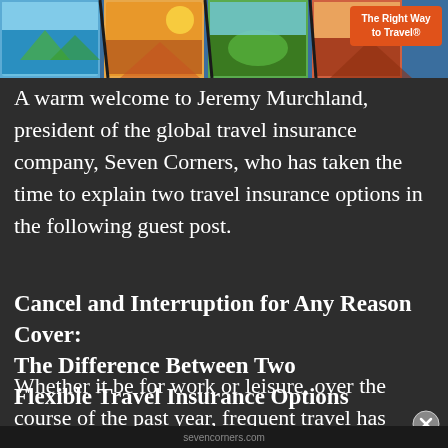[Figure (photo): Collage of travel photos at the top of the page with colorful imagery of destinations and landscapes, with an orange badge reading 'The Right Way to Travel®' in the top right corner.]
A warm welcome to Jeremy Murchland, president of the global travel insurance company, Seven Corners, who has taken the time to explain two travel insurance options in the following guest post.
Cancel and Interruption for Any Reason Cover: The Difference Between Two Flexible Travel Insurance Options
Whether it be for work or leisure, over the course of the past year, frequent travel has come to a standstill due to the ongoing